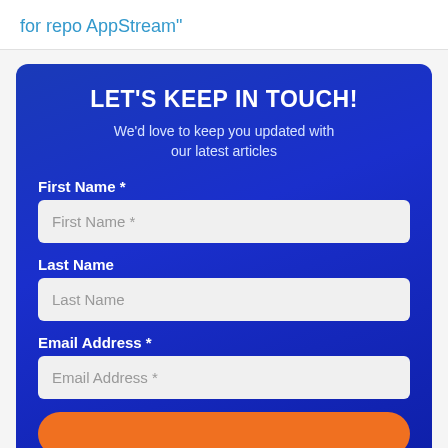for repo AppStream"
LET'S KEEP IN TOUCH!
We'd love to keep you updated with our latest articles
First Name *
First Name *
Last Name
Last Name
Email Address *
Email Address *